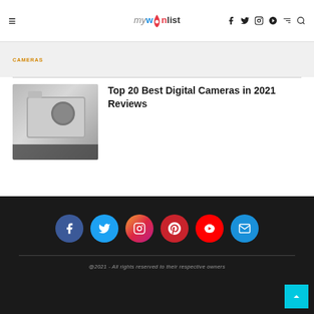≡  mywínlist  f  𝕏  ◻  𝗣  ▶  ✉  🔍
CAMERAS
Top 20 Best Digital Cameras in 2021 Reviews
[Figure (photo): Thumbnail image of digital cameras]
@2021 - All rights reserved to their respective owners